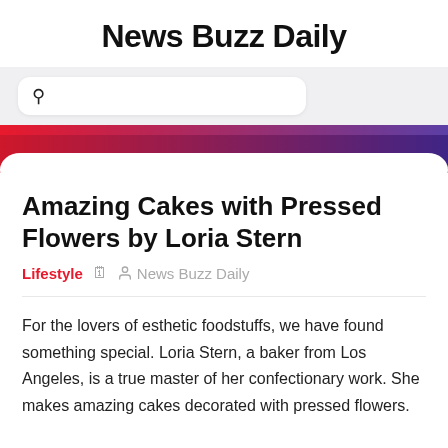News Buzz Daily
[Figure (screenshot): Search bar with magnifying glass icon on light grey background]
[Figure (illustration): Gradient banner strip transitioning from red on the left to purple/blue on the right, with rounded corners, layered effect]
Amazing Cakes with Pressed Flowers by Loria Stern
Lifestyle  🗓  👤 News Buzz Daily
For the lovers of esthetic foodstuffs, we have found something special. Loria Stern, a baker from Los Angeles, is a true master of her confectionary work. She makes amazing cakes decorated with pressed flowers.